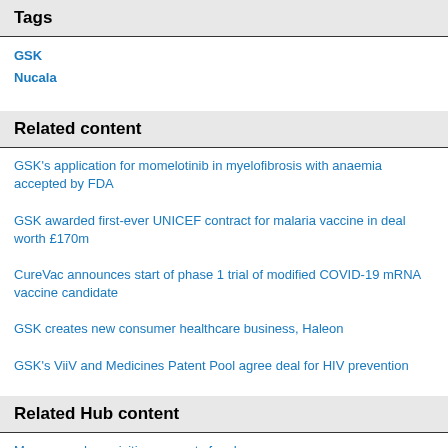Tags
GSK
Nucala
Related content
GSK's application for momelotinib in myelofibrosis with anaemia accepted by FDA
GSK awarded first-ever UNICEF contract for malaria vaccine in deal worth £170m
CureVac announces start of phase 1 trial of modified COVID-19 mRNA vaccine candidate
GSK creates new consumer healthcare business, Haleon
GSK's ViiV and Medicines Patent Pool agree deal for HIV prevention
Related Hub content
Mergers and acquisitions: agents for change
Accession